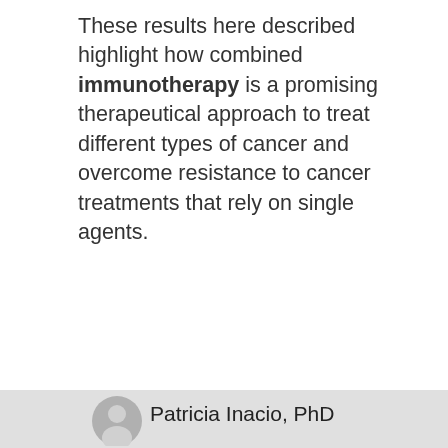These results here described highlight how combined immunotherapy is a promising therapeutical approach to treat different types of cancer and overcome resistance to cancer treatments that rely on single agents.
[Figure (illustration): Printer icon with paper coming out of the top]
Print This Page
Click Here to receive Colon Cancer news via e-mail
Patricia Inacio, PhD